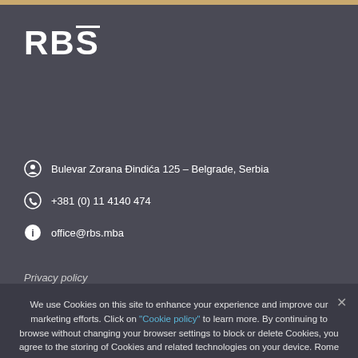[Figure (logo): RBS Rome Business School Belgrade logo in white text on dark background]
Bulevar Zorana Đindića 125 – Belgrade, Serbia
+381 (0) 11 4140 474
office@rbs.mba
Privacy policy
We use Cookies on this site to enhance your experience and improve our marketing efforts. Click on "Cookie policy" to learn more. By continuing to browse without changing your browser settings to block or delete Cookies, you agree to the storing of Cookies and related technologies on your device. Rome Business School Belgrade. Cooke Policy
Accept